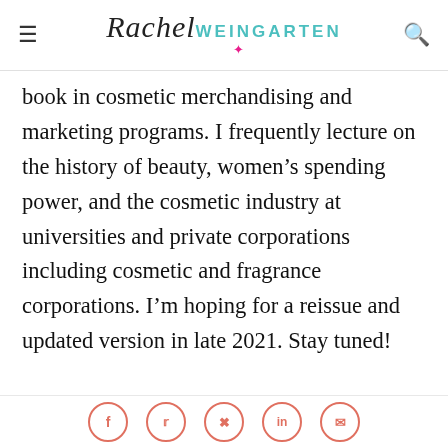Rachel Weingarten
book in cosmetic merchandising and marketing programs. I frequently lecture on the history of beauty, women's spending power, and the cosmetic industry at universities and private corporations including cosmetic and fragrance corporations. I'm hoping for a reissue and updated version in late 2021. Stay tuned!